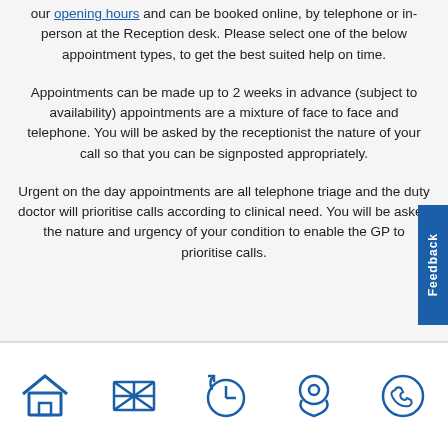our opening hours and can be booked online, by telephone or in-person at the Reception desk. Please select one of the below appointment types, to get the best suited help on time.
Appointments can be made up to 2 weeks in advance (subject to availability) appointments are a mixture of face to face and telephone. You will be asked by the receptionist the nature of your call so that you can be signposted appropriately.
Urgent on the day appointments are all telephone triage and the duty doctor will prioritise calls according to clinical need. You will be asked the nature and urgency of your condition to enable the GP to prioritise calls.
[Figure (infographic): Footer navigation icons: house/home, UK flag, clock/history, location pin, telephone]